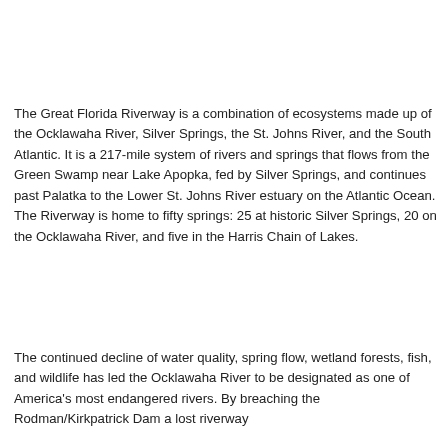The Great Florida Riverway is a combination of ecosystems made up of the Ocklawaha River, Silver Springs, the St. Johns River, and the South Atlantic. It is a 217-mile system of rivers and springs that flows from the Green Swamp near Lake Apopka, fed by Silver Springs, and continues past Palatka to the Lower St. Johns River estuary on the Atlantic Ocean. The Riverway is home to fifty springs: 25 at historic Silver Springs, 20 on the Ocklawaha River, and five in the Harris Chain of Lakes.
The continued decline of water quality, spring flow, wetland forests, fish, and wildlife has led the Ocklawaha River to be designated as one of America's most endangered rivers. By breaching the Rodman/Kirkpatrick Dam a lost riverway...